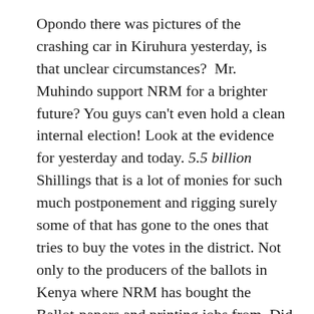Opondo there was pictures of the crashing car in Kiruhura yesterday, is that unclear circumstances?  Mr. Muhindo support NRM for a brighter future? You guys can't even hold a clean internal election! Look at the evidence for yesterday and today. 5.5 billion Shillings that is a lot of monies for such much postponement and rigging surely some of that has gone to the ones that tries to buy the votes in the district. Not only to the producers of the ballots in Kenya where NRM has bought the Ballot-papers and printing jobs from. Did you know that?
Rogers Mulindwa the head of media and public relations as apologies for the irregularities and he